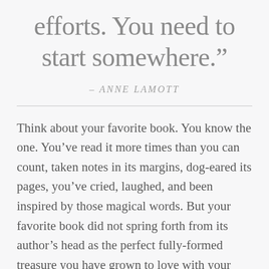efforts. You need to start somewhere.”
– ANNE LAMOTT
Think about your favorite book. You know the one. You’ve read it more times than you can count, taken notes in its margins, dog-eared its pages, you’ve cried, laughed, and been inspired by those magical words. But your favorite book did not spring forth from its author’s head as the perfect fully-formed treasure you have grown to love with your whole heart. That book—and every book—